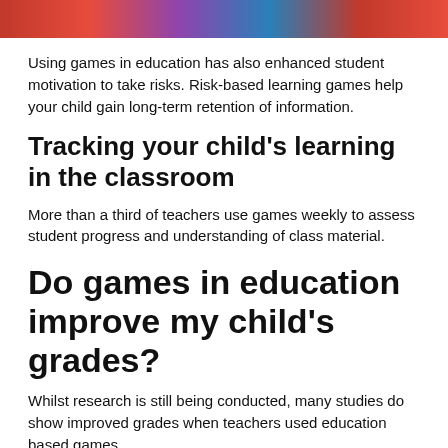[Figure (photo): Colored image strip at the top of the page showing a classroom or educational scene with red and colorful tones]
Using games in education has also enhanced student motivation to take risks. Risk-based learning games help your child gain long-term retention of information.
Tracking your child's learning in the classroom
More than a third of teachers use games weekly to assess student progress and understanding of class material.
Do games in education improve my child's grades?
Whilst research is still being conducted, many studies do show improved grades when teachers used education based games.